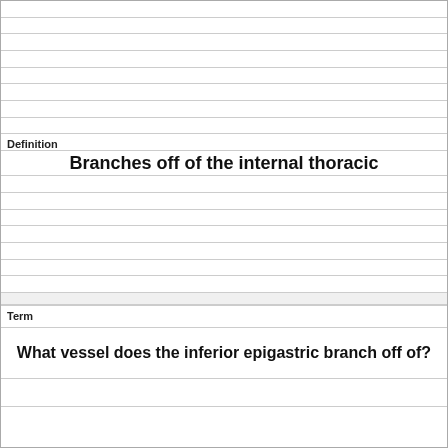Definition
Branches off of the internal thoracic
Term
What vessel does the inferior epigastric branch off of?